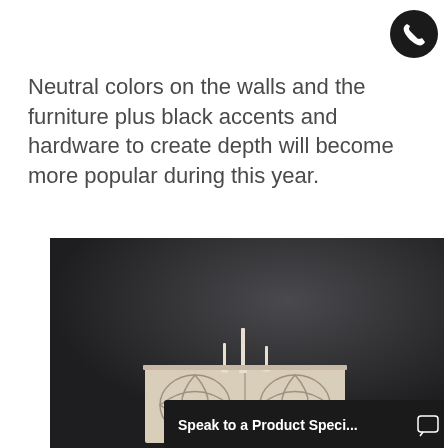[Figure (logo): Black circular phone/call button icon in top right corner]
Neutral colors on the walls and the furniture plus black accents and hardware to create depth will become more popular during this year.
[Figure (photo): Dark background interior design photo showing a white ornate cabinet with decorative lattice pattern and white candlestick holders on top]
Speak to a Product Speci...